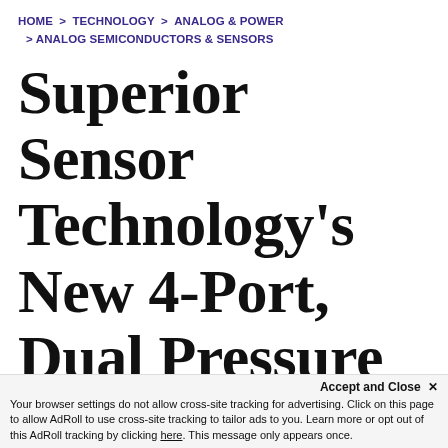HOME > TECHNOLOGY > ANALOG & POWER > ANALOG SEMICONDUCTORS & SENSORS
Superior Sensor Technology's New 4-Port, Dual Pressure
This website uses cookies to ensure you get the best experience on our website. Learn More
Accept and Close ✕ Your browser settings do not allow cross-site tracking for advertising. Click on this page to allow AdRoll to use cross-site tracking to tailor ads to you. Learn more or opt out of this AdRoll tracking by clicking here. This message only appears once.